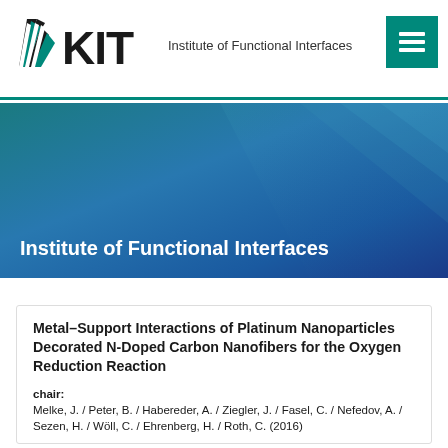KIT — Institute of Functional Interfaces
[Figure (illustration): KIT logo with fan symbol and text KIT, followed by Institute of Functional Interfaces label, and a green hamburger menu icon on the right]
Institute of Functional Interfaces
Metal–Support Interactions of Platinum Nanoparticles Decorated N-Doped Carbon Nanofibers for the Oxygen Reduction Reaction
chair: Melke, J. / Peter, B. / Habereder, A. / Ziegler, J. / Fasel, C. / Nefedov, A. / Sezen, H. / Wöll, C. / Ehrenberg, H. / Roth, C. (2016)
place:  ACS Appl. Mater. Interfaces,(2016), 8, 1, 82–90,